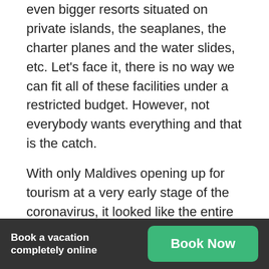even bigger resorts situated on private islands, the seaplanes, the charter planes and the water slides, etc. Let's face it, there is no way we can fit all of these facilities under a restricted budget. However, not everybody wants everything and that is the catch.
With only Maldives opening up for tourism at a very early stage of the coronavirus, it looked like the entire world was traveling to the group of islands. Since it was mostly movie stars and other celebrities, the wrong notion of Maldives being a costly destination arose among a few people. That is
Book a vacation completely online  Book Now